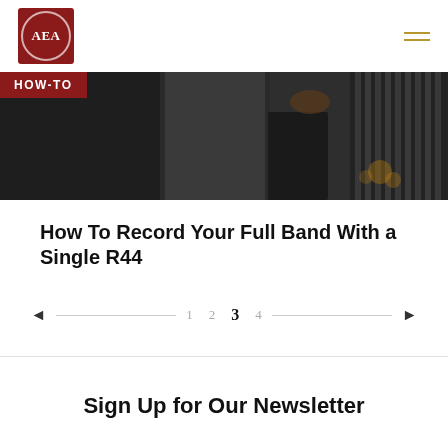[Figure (logo): AEA logo — dark red square with circular border and AEA initials in serif font]
[Figure (photo): HOW-TO banner with musicians playing instruments in dark studio setting]
How To Record Your Full Band With a Single R44
◄ 1 2 3 4 ►  (pagination, page 3 active)
Sign Up for Our Newsletter